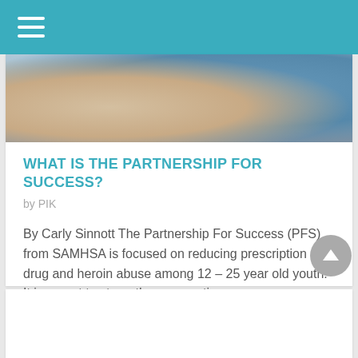Navigation bar with hamburger menu
[Figure (photo): Photo of students in a classroom setting, showing desks and students with a red backpack visible]
WHAT IS THE PARTNERSHIP FOR SUCCESS?
by PIK
By Carly Sinnott The Partnership For Success (PFS) from SAMHSA is focused on reducing prescription drug and heroin abuse among 12 – 25 year old youth. It is meant to strengthen prevention…
LEARN MORE